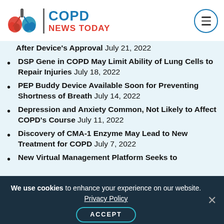COPD NEWS TODAY
After Device's Approval July 21, 2022
DSP Gene in COPD May Limit Ability of Lung Cells to Repair Injuries July 18, 2022
PEP Buddy Device Available Soon for Preventing Shortness of Breath July 14, 2022
Depression and Anxiety Common, Not Likely to Affect COPD's Course July 11, 2022
Discovery of CMA-1 Enzyme May Lead to New Treatment for COPD July 7, 2022
New Virtual Management Platform Seeks to
We use cookies to enhance your experience on our website. Privacy Policy ACCEPT